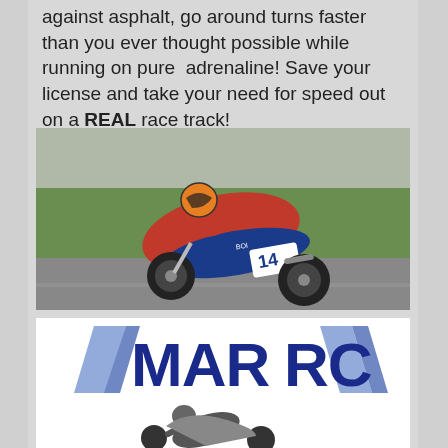against asphalt, go around turns faster than you ever thought possible while running on pure adrenaline! Save your license and take your need for speed out on a REAL race track!
[Figure (photo): Racing motorcycle number 14 in red and blue leaning sharply into a turn on a race track, with green grass in the background.]
[Figure (logo): MARRC logo with diagonal speed stripes in blue/grey and stylized motorcycle racer leaning into a corner below the text.]